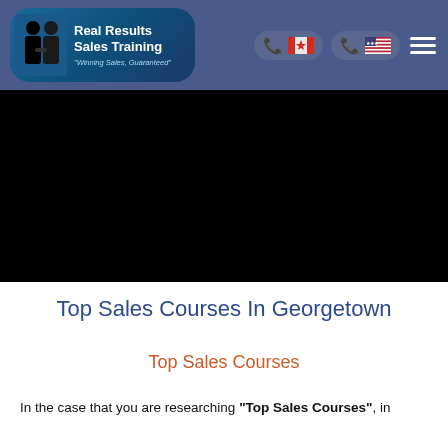Real Results Sales Training "Winning Sales, Guaranteed"
[Figure (screenshot): Black hero/banner image area]
Top Sales Courses In Georgetown
Top Sales Courses
In the case that you are researching "Top Sales Courses", in